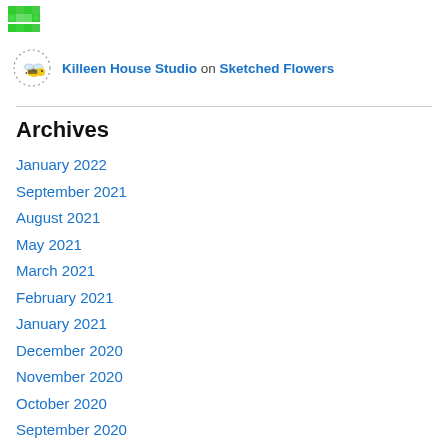[Figure (logo): Green pixel art / diamond pattern logo icon]
Killeen House Studio on Sketched Flowers
[Figure (illustration): Small bee avatar icon with dotted circle]
Archives
January 2022
September 2021
August 2021
May 2021
March 2021
February 2021
January 2021
December 2020
November 2020
October 2020
September 2020
August 2020